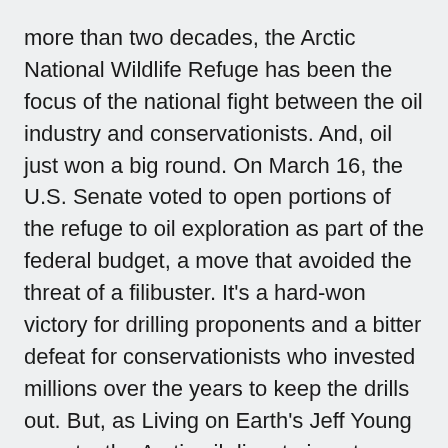more than two decades, the Arctic National Wildlife Refuge has been the focus of the national fight between the oil industry and conservationists. And, oil just won a big round. On March 16, the U.S. Senate voted to open portions of the refuge to oil exploration as part of the federal budget, a move that avoided the threat of a filibuster. It's a hard-won victory for drilling proponents and a bitter defeat for conservationists who invested millions over the years to keep the drills out. But, as Living on Earth's Jeff Young reports, the Arctic oil dispute is not over yet.
YOUNG: The Arctic Refuge's would-be protectors found themselves over a 56-dollar barrel. That was the eye-popping price for a barrel of crude the day the Senate took up debate on the future of the refuge. And it's why